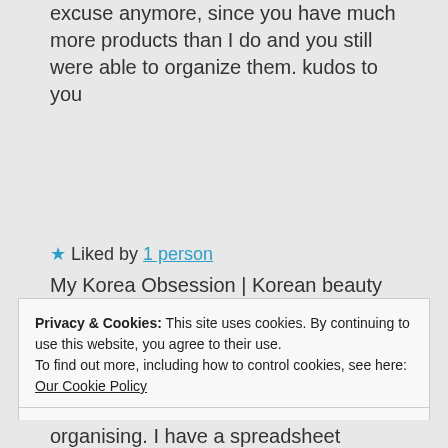excuse anymore, since you have much more products than I do and you still were able to organize them. kudos to you
My Korea Obsession | Korean beauty products' reviews, beauty tips and DIYs
★ Liked by 1 person
Privacy & Cookies: This site uses cookies. By continuing to use this website, you agree to their use.
To find out more, including how to control cookies, see here: Our Cookie Policy
Close and accept
organising. I have a spreadsheet